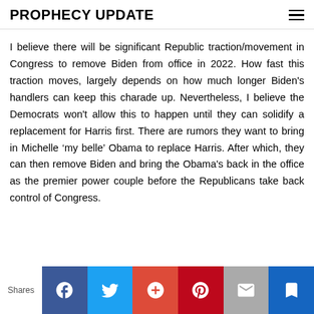PROPHECY UPDATE
I believe there will be significant Republic traction/movement in Congress to remove Biden from office in 2022. How fast this traction moves, largely depends on how much longer Biden's handlers can keep this charade up. Nevertheless, I believe the Democrats won't allow this to happen until they can solidify a replacement for Harris first. There are rumors they want to bring in Michelle ‘my belle’ Obama to replace Harris. After which, they can then remove Biden and bring the Obama's back in the office as the premier power couple before the Republicans take back control of Congress.